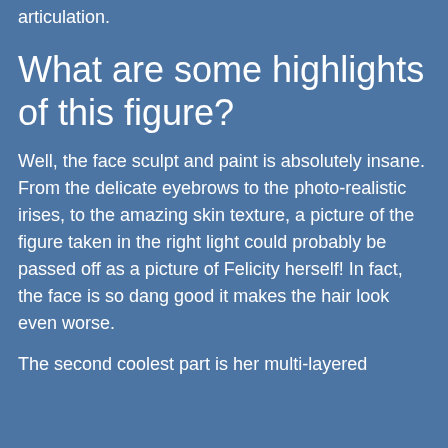Erso figure will have over 80 points of articulation.
What are some highlights of this figure?
Well, the face sculpt and paint is absolutely insane. From the delicate eyebrows to the photo-realistic irises, to the amazing skin texture, a picture of the figure taken in the right light could probably be passed off as a picture of Felicity herself! In fact, the face is so dang good it makes the hair look even worse.
The second coolest part is her multi-layered